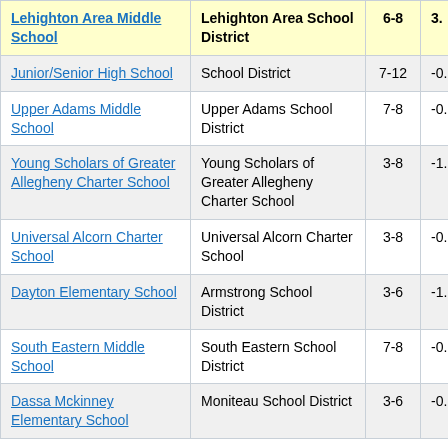| School | District | Grades | Score |
| --- | --- | --- | --- |
| Lehighton Area Middle School | Lehighton Area School District | 6-8 | 3. |
| Junior/Senior High School | School District | 7-12 | -0. |
| Upper Adams Middle School | Upper Adams School District | 7-8 | -0. |
| Young Scholars of Greater Allegheny Charter School | Young Scholars of Greater Allegheny Charter School | 3-8 | -1. |
| Universal Alcorn Charter School | Universal Alcorn Charter School | 3-8 | -0. |
| Dayton Elementary School | Armstrong School District | 3-6 | -1. |
| South Eastern Middle School | South Eastern School District | 7-8 | -0. |
| Dassa Mckinney Elementary School | Moniteau School District | 3-6 | -0. |